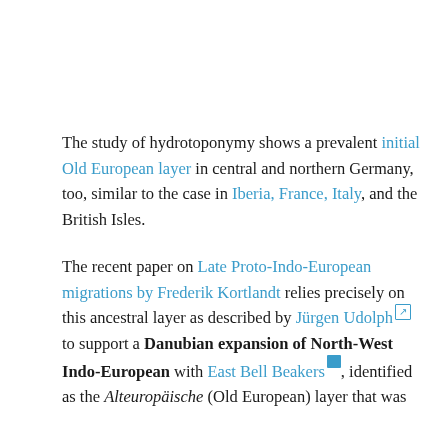The study of hydrotoponymy shows a prevalent initial Old European layer in central and northern Germany, too, similar to the case in Iberia, France, Italy, and the British Isles.
The recent paper on Late Proto-Indo-European migrations by Frederik Kortlandt relies precisely on this ancestral layer as described by Jürgen Udolph [ext] to support a Danubian expansion of North-West Indo-European with East Bell Beakers [icon], identified as the Alteuropäische (Old European) layer that was